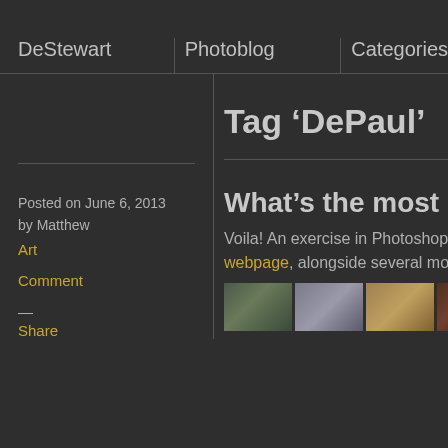DeStewart | Photoblog | Categories
Tag ‘DePaul’
What’s the most embarras
Posted on June 6, 2013 by Matthew
Art
Comment
—
Share
Voila! An exercise in Photoshopping webpage, alongside several more
[Figure (photo): Row of thumbnail images showing cityscapes and architectural photos]